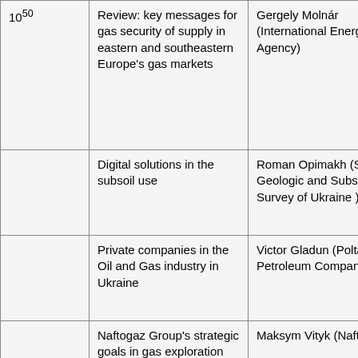| 10^50 | Review: key messages for gas security of supply in eastern and southeastern Europe's gas markets | Gergely Molnár (International Energy Agency) |
|  | Digital solutions in the subsoil use | Roman Opimakh (State Geologic and Subsoil Survey of Ukraine ) |
|  | Private companies in the Oil and Gas industry in Ukraine | Victor Gladun (Poltava Petroleum Company) |
|  | Naftogaz Group's strategic goals in gas exploration and production. | Maksym Vityk (Naftogaz) |
|  | Turkey's natural gas prospects in the Black Sea | Eser Özdil (PETFORM) |